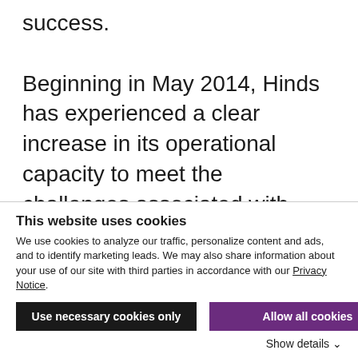success.
Beginning in May 2014, Hinds has experienced a clear increase in its operational capacity to meet the challenges associated with student success, and claims that it is getting its worth out of the investment in professional services. There is a significant divide between any software purchase and the services that come with it, and Hinds
This website uses cookies
We use cookies to analyze our traffic, personalize content and ads, and to identify marketing leads. We may also share information about your use of our site with third parties in accordance with our Privacy Notice.
Use necessary cookies only
Allow all cookies
Show details